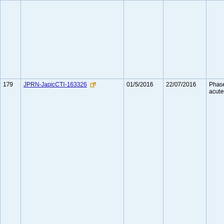| # | Trial ID | Date 1 | Date 2 | Description |
| --- | --- | --- | --- | --- |
|  |  |  |  |  |
| 179 | JPRN-JapicCTI-163326 | 01/5/2016 | 22/07/2016 | Phase III clinical study of ART-123 for the treatment of acute exacerbation of idiopathic pulmonary fibrosis |
| 180 | NCT02739165 (ClinicalTrials.gov) | May 2016 | 1/4/2016 | Clinical Study of ART-123 for the Treatment |